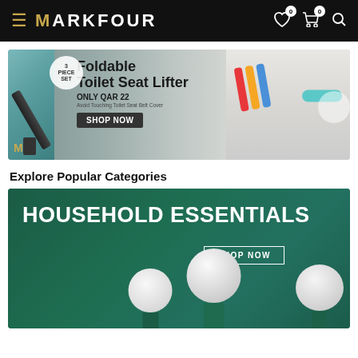MARKFOUR
[Figure (photo): Foldable Toilet Seat Lifter product banner. Gray background, shows a 3-piece set of colorful toilet seat lifters. Text: '3 PIECE SET', 'Foldable Toilet Seat Lifter', 'ONLY QAR 22', 'Avoid Touching Toilet Seat Belt Cover', 'SHOP NOW'. M logo bottom left.]
Explore Popular Categories
[Figure (photo): Household Essentials category banner. Dark green background with white spherical lamp/device products on green cylindrical pedestals. Text: 'HOUSEHOLD ESSENTIALS', 'SHOP NOW'.]